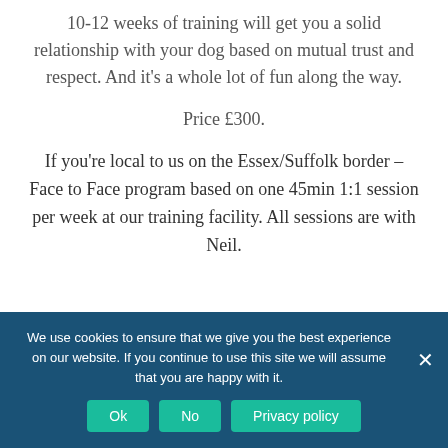10-12 weeks of training will get you a solid relationship with your dog based on mutual trust and respect. And it’s a whole lot of fun along the way.
Price £300.
If you’re local to us on the Essex/Suffolk border – Face to Face program based on one 45min 1:1 session per week at our training facility. All sessions are with Neil.
We use cookies to ensure that we give you the best experience on our website. If you continue to use this site we will assume that you are happy with it.